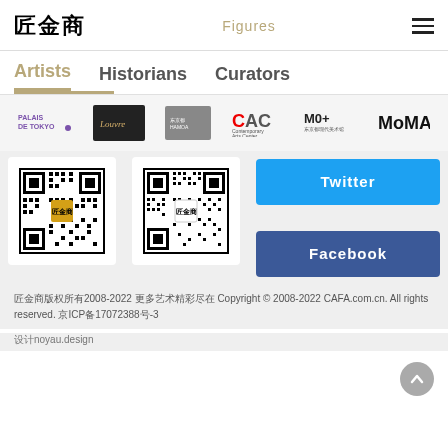匠金商  Figures  ☰
Artists  Historians  Curators
[Figure (logo): Row of institution logos: Palais de Tokyo, Louvre, HAMOA, CAC Contemporary Arts Center, M0+ 东京都现代美术馆, MoMA]
[Figure (photo): QR code with 匠金商 logo in center (WeChat QR code 1)]
[Figure (photo): QR code with 匠金商 logo in center (WeChat QR code 2)]
[Figure (other): Twitter social media button (cyan blue)]
[Figure (other): Facebook social media button (dark blue)]
匠金商版权所有2008-2022 更多艺术精彩尽在 Copyright © 2008-2022 CAFA.com.cn. All rights reserved. 京ICP备17072388号-3
设计noyau.design